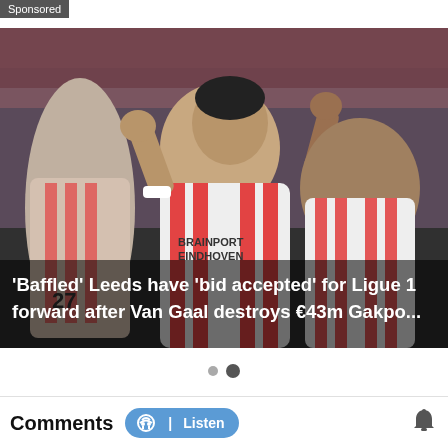Sponsored
[Figure (photo): PSV Eindhoven football players in white and red striped jerseys celebrating, raising fists. BRAINPORT EINDHOVEN sponsor on jersey. Crowd in background.]
'Baffled' Leeds have 'bid accepted' for Ligue 1 forward after Van Gaal destroys €43m Gakpo...
• •
Comments   🎧 | Listen   🔔